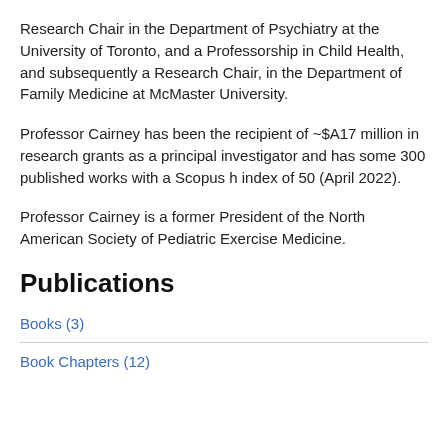Research Chair in the Department of Psychiatry at the University of Toronto, and a Professorship in Child Health, and subsequently a Research Chair, in the Department of Family Medicine at McMaster University.
Professor Cairney has been the recipient of ~$A17 million in research grants as a principal investigator and has some 300 published works with a Scopus h index of 50 (April 2022).
Professor Cairney is a former President of the North American Society of Pediatric Exercise Medicine.
Publications
Books (3)
Book Chapters (12)